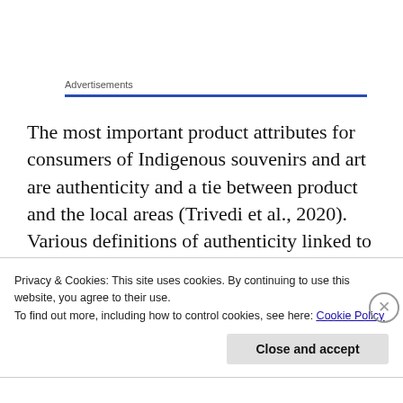Advertisements
The most important product attributes for consumers of Indigenous souvenirs and art are authenticity and a tie between product and the local areas (Trivedi et al., 2020). Various definitions of authenticity linked to this subject matter include terms like uniqueness, genuineness,
Privacy & Cookies: This site uses cookies. By continuing to use this website, you agree to their use.
To find out more, including how to control cookies, see here: Cookie Policy
Close and accept